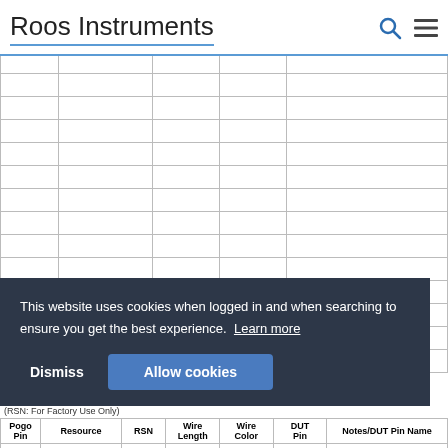Roos Instruments
|  |
|  |
|  |
|  |
|  |
|  |
|  |
|  |
|  |
|  |
|  |
|  |
|  |
|  |
This website uses cookies when logged in and when searching to ensure you get the best experience. Learn more
Dismiss | Allow cookies
CARRIER BOARD
(RSN: For Factory Use Only)
| Pogo Pin | Resource | RSN | Wire Length | Wire Color | DUT Pin | Notes/DUT Pin Name |
| --- | --- | --- | --- | --- | --- | --- |
|  |